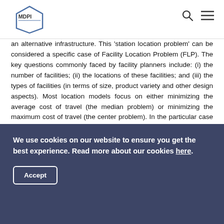MDPI
an alternative infrastructure. This 'station location problem' can be considered a specific case of Facility Location Problem (FLP). The key questions commonly faced by facility planners include: (i) the number of facilities; (ii) the locations of these facilities; and (iii) the types of facilities (in terms of size, product variety and other design aspects). Most location models focus on either minimizing the average cost of travel (the median problem) or minimizing the maximum cost of travel (the center problem). In the particular case of optimally locating recharging stations, several location models have been proposed. These models can be divided in two main groups, node-based and flow-based, depending on their assumptions of refueling
We use cookies on our website to ensure you get the best experience. Read more about our cookies here. Accept